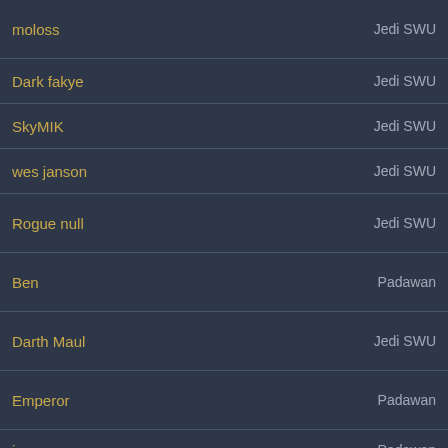| Name | Rank |
| --- | --- |
| moloss | Jedi SWU |
| Dark fakye | Jedi SWU |
| SkyMIK | Jedi SWU |
| wes janson | Jedi SWU |
| Rogue null | Jedi SWU |
| Ben | Padawan |
| Darth Maul | Jedi SWU |
| Emperor | Padawan |
| jorus | Padawan |
| jediknight | Jedi SWU |
| Darth Sidious | Jedi SWU |